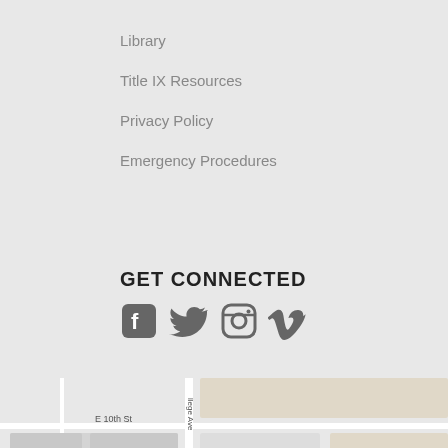Library
Title IX Resources
Privacy Policy
Emergency Procedures
GET CONNECTED
[Figure (infographic): Social media icons: Facebook, Twitter, Instagram, Vimeo in dark grey]
[Figure (map): Google Maps showing Western Theological Seminary location near Hope College, Holland MI. Streets E 10th St, E 12th St, E 13th St visible. Red pin marker on Western Theological Seminary.]